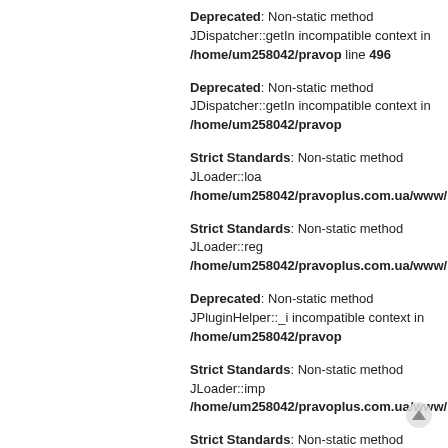Deprecated: Non-static method JDispatcher::getIn... incompatible context in /home/um258042/pravop... line 496
Deprecated: Non-static method JDispatcher::getIn... incompatible context in /home/um258042/pravop...
Strict Standards: Non-static method JLoader::loa... /home/um258042/pravoplus.com.ua/www/librar...
Strict Standards: Non-static method JLoader::reg... /home/um258042/pravoplus.com.ua/www/librar...
Deprecated: Non-static method JPluginHelper::_i... incompatible context in /home/um258042/pravop...
Strict Standards: Non-static method JLoader::imp... /home/um258042/pravoplus.com.ua/www/librar...
Strict Standards: Non-static method JLoader::imp... /home/um258042/pravoplus.com.ua/www/librar...
Strict Standards: Non-static method JLoader::imp... /home/um258042/pravoplus.com.ua/www/librar...
Deprecated: Non-static method JDispatcher::getIn... incompatible context in /home/um258042/pravop...